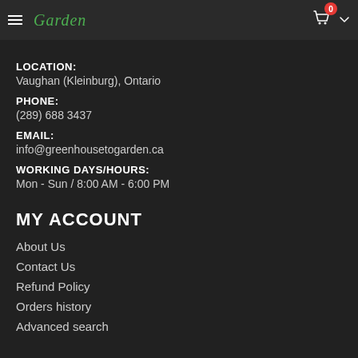Garden (logo navigation bar with cart)
LOCATION:
Vaughan (Kleinburg), Ontario
PHONE:
(289) 688 3437
EMAIL:
info@greenhousetogarden.ca
WORKING DAYS/HOURS:
Mon - Sun / 8:00 AM - 6:00 PM
MY ACCOUNT
About Us
Contact Us
Refund Policy
Orders history
Advanced search
ORDER WITH US
Greenhouse to Garden is the best garden centre in Kleinburg (Vaughan). Greenhouse to Garden is an Ontario grown company